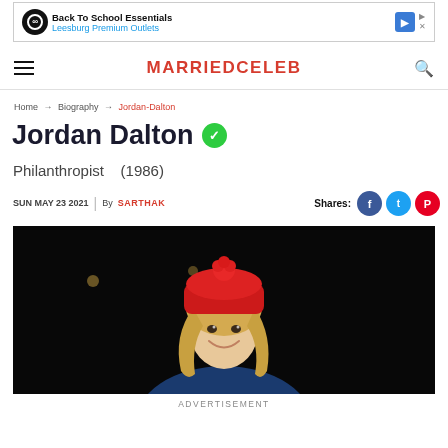[Figure (other): Advertisement banner: Back To School Essentials - Leesburg Premium Outlets]
MARRIEDCELEB
Home → Biography → Jordan-Dalton
Jordan Dalton
Philanthropist   (1986)
SUN MAY 23 2021  |  By SARTHAK
[Figure (photo): Woman smiling, wearing red beanie hat against dark background]
ADVERTISEMENT